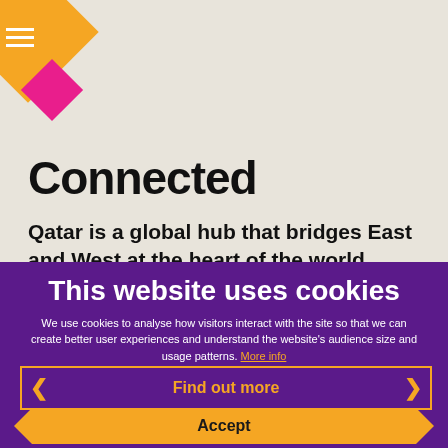[Figure (logo): Qatar tourism logo with orange and pink diamond shapes and hamburger menu icon]
Connected
Qatar is a global hub that bridges East and West at the heart of the world. Here, you'll find fast connections with the environment and with each other. The country's compact nature means
This website uses cookies
We use cookies to analyse how visitors interact with the site so that we can create better user experiences and understand the website's audience size and usage patterns. More info
Find out more
Accept